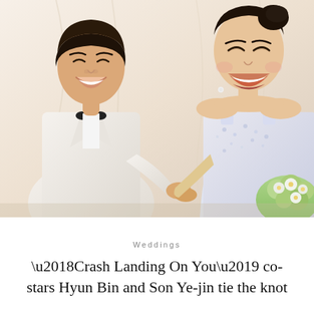[Figure (photo): Wedding photo of Hyun Bin and Son Ye-jin. The groom is on the left wearing a white tuxedo with black bow tie, smiling. The bride is on the right wearing a white embellished sleeveless wedding gown, holding a bouquet of white and green flowers, laughing joyfully. They are holding hands in front of a white/cream draped background.]
Weddings
‘Crash Landing On You’ co-stars Hyun Bin and Son Ye-jin tie the knot